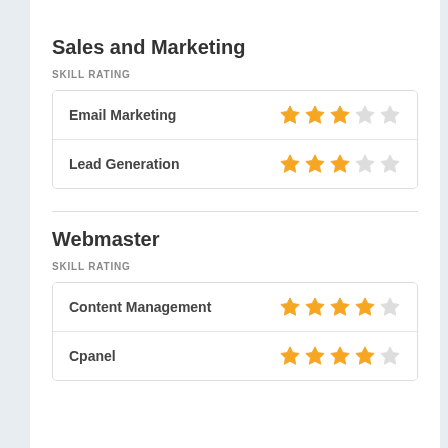Sales and Marketing
SKILL RATING
| Skill | Rating |
| --- | --- |
| Email Marketing | 3/5 stars |
| Lead Generation | 3/5 stars |
Webmaster
SKILL RATING
| Skill | Rating |
| --- | --- |
| Content Management | 4/5 stars |
| Cpanel | 4/5 stars |